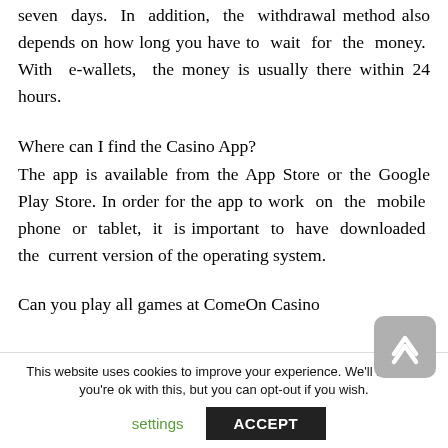A payout will be processed within five to seven days. In addition, the withdrawal method also depends on how long you have to wait for the money. With e-wallets, the money is usually there within 24 hours.
Where can I find the Casino App?
The app is available from the App Store or the Google Play Store. In order for the app to work on the mobile phone or tablet, it is important to have downloaded the current version of the operating system.
Can you play all games at ComeOn Casino
This website uses cookies to improve your experience. We'll assume you're ok with this, but you can opt-out if you wish.